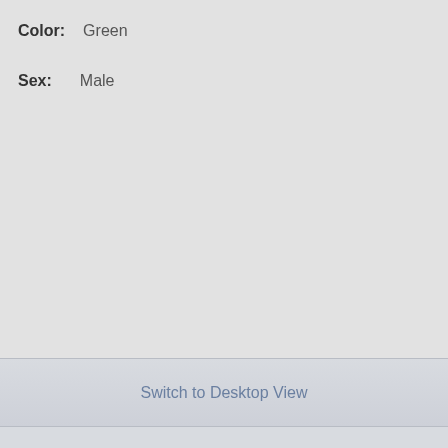Color: Green
Sex: Male
Switch to Desktop View